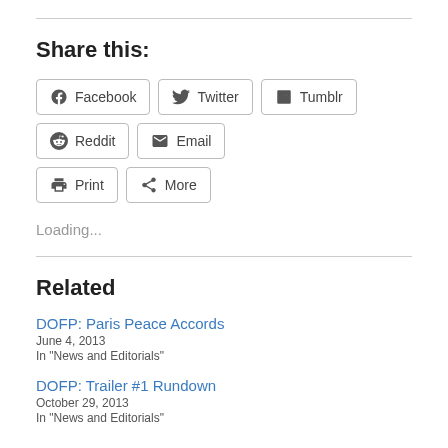Share this:
Facebook
Twitter
Tumblr
Reddit
Email
Print
More
Loading...
Related
DOFP: Paris Peace Accords
June 4, 2013
In "News and Editorials"
DOFP: Trailer #1 Rundown
October 29, 2013
In "News and Editorials"